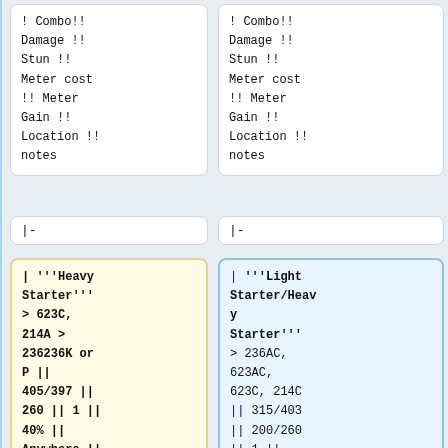! Combo!!
Damage !!
Stun !!
Meter cost !! Meter Gain !!
Location !!
notes
! Combo!!
Damage !!
Stun !!
Meter cost !! Meter Gain !!
Location !!
notes
|-
|-
| '''Heavy Starter''' > 623C, 214A > 236236K or P || 405/397 || 260 || 1 || 40% || Anywhere || 236236K
| '''Light Starter/Heavy Starter''' > 236AC, 623AC, 623C, 214C || 315/403 || 200/260 || 1 || 35%/40% ||